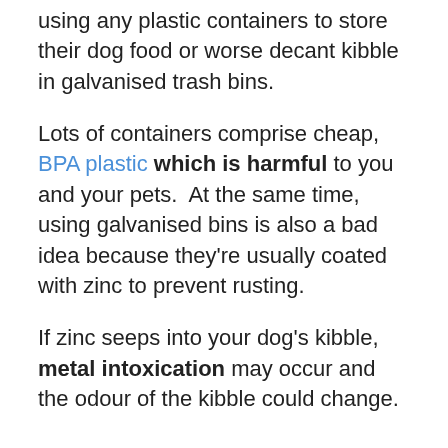using any plastic containers to store their dog food or worse decant kibble in galvanised trash bins.
Lots of containers comprise cheap, BPA plastic which is harmful to you and your pets.  At the same time, using galvanised bins is also a bad idea because they're usually coated with zinc to prevent rusting.
If zinc seeps into your dog's kibble, metal intoxication may occur and the odour of the kibble could change.
PBA-free plastic and stainless steel